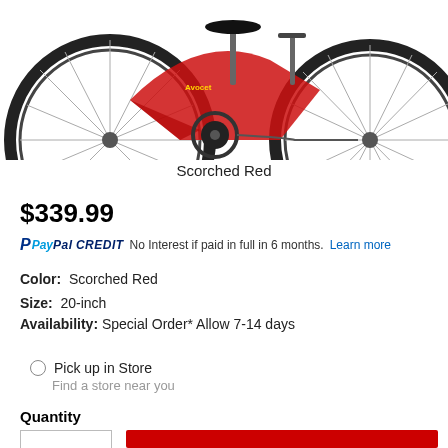[Figure (photo): Product photo of a red children's bicycle (Scorched Red color) shown from the side, cropped at top]
Scorched Red
$339.99
PayPal CREDIT  No Interest if paid in full in 6 months.  Learn more
Color:  Scorched Red
Size:  20-inch
Availability:  Special Order* Allow 7-14 days
Pick up in Store
Find a store near you
Quantity